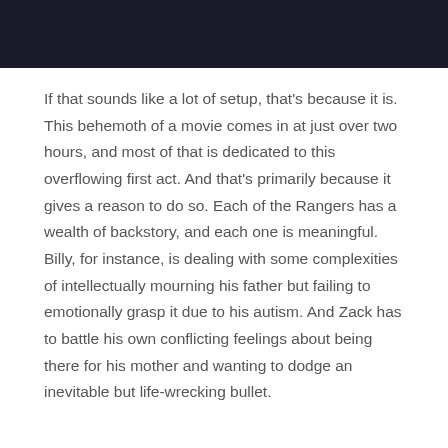[Figure (photo): Dark cinematic still from a film, showing shadowy figures in a dimly lit scene.]
If that sounds like a lot of setup, that's because it is. This behemoth of a movie comes in at just over two hours, and most of that is dedicated to this overflowing first act. And that's primarily because it gives a reason to do so. Each of the Rangers has a wealth of backstory, and each one is meaningful. Billy, for instance, is dealing with some complexities of intellectually mourning his father but failing to emotionally grasp it due to his autism. And Zack has to battle his own conflicting feelings about being there for his mother and wanting to dodge an inevitable but life-wrecking bullet.
Granted, in many cases, the effectivity of these rich histories is underutilized (though that could also be a problem of underwhelming performances). Trini, for